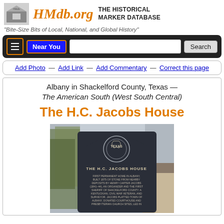HMdb.org THE HISTORICAL MARKER DATABASE
"Bite-Size Bits of Local, National, and Global History"
Near You  Search
Add Photo — Add Link — Add Commentary — Correct this page
Albany in Shackelford County, Texas — The American South (West South Central)
The H.C. Jacobs House
[Figure (photo): Photo of a Texas Historical Commission dark metal marker for The H.C. Jacobs House, with trees and a building visible in background. The marker reads: THE H.C. JACOBS HOUSE FIRST PERMANENT HOME IN ALBANY, BUILT 1875 OF STONE FROM NEARBY DEPOSITS BY HENRY CARTER JACOBS (1841-44), AN ORGANIZER AND THE FIRST SHERIFF OF SHACKELFORD COUNTY. A KENTUCKIAN, CIVIL WAR VETERAN, AND SURVEYOR. JACOBS PLATTED TOWN OF ALBANY, DONATED COURTHOUSE AND PRESBYTERIAN CHURCH SITES, LED IN...]